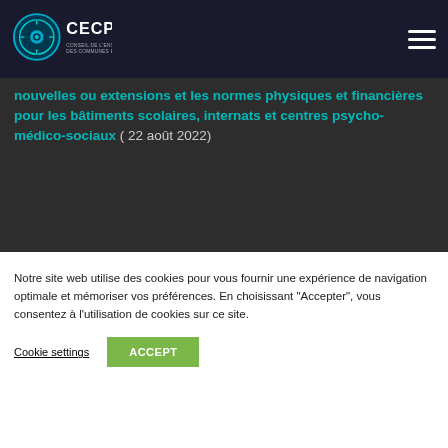[Figure (logo): CECP logo — circular blue/teal emblem with text 'CECP' in white, top navigation bar]
nouvelles ou extensions et les normes physiques et financières pour les bâtiments scolaires, internats et centres psycho-médico-sociaux ( 22 août 2022)
[Figure (logo): CECP logo — circular blue/teal emblem with text 'CECP', footer area]
Conseil de l'Enseignement des Communes et des Provinces asbl
Avenue des Gaulois 32
1040 Bruxelles
Notre site web utilise des cookies pour vous fournir une expérience de navigation optimale et mémoriser vos préférences. En choisissant "Accepter", vous consentez à l'utilisation de cookies sur ce site.
Cookie settings
ACCEPT